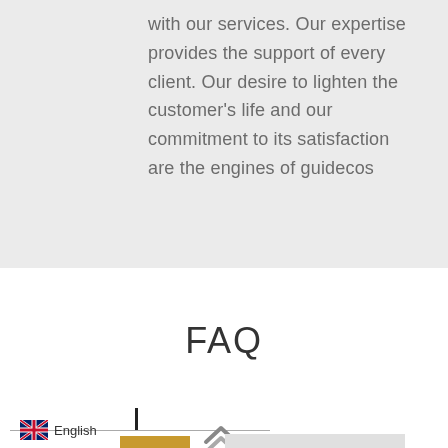with our services. Our expertise provides the support of every client. Our desire to lighten the customer's life and our commitment to its satisfaction are the engines of guidecos
FAQ
[Figure (infographic): UK flag icon with 'English' language label and an up-arrow navigation chevron, plus a cursor/text input bar and partial UI elements at the bottom of the page]